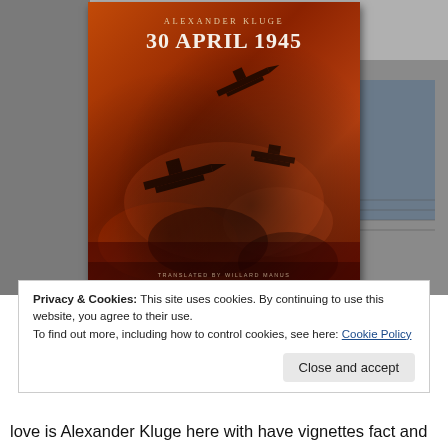[Figure (photo): A hand holding a book titled '30 April 1945' by Alexander Kluge, with a reddish-orange book cover showing WWII aircraft silhouettes. The background shows an indoor setting with a laptop partially visible.]
Privacy & Cookies: This site uses cookies. By continuing to use this website, you agree to their use.
To find out more, including how to control cookies, see here: Cookie Policy
Close and accept
love is Alexander Kluge here with have vignettes fact and